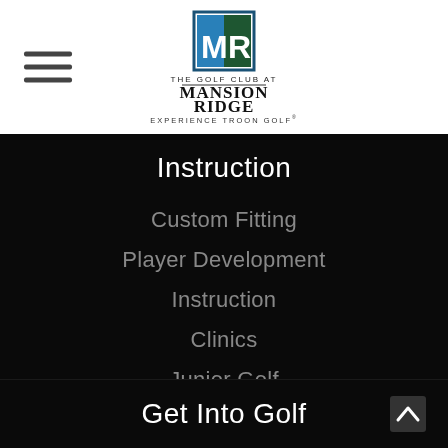[Figure (logo): The Golf Club at Mansion Ridge logo with MR monogram and Experience Troon Golf tagline]
Instruction
Custom Fitting
Player Development
Instruction
Clinics
Junior Golf
Get Into Golf